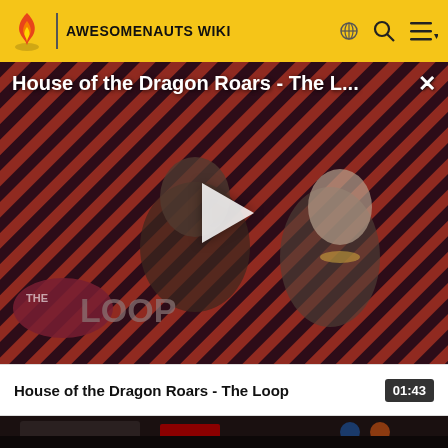AWESOMENAUTS WIKI
[Figure (screenshot): Video popup overlay showing 'House of the Dragon Roars - The L...' title with diagonal red/dark stripe pattern background, two characters from House of the Dragon visible, THE LOOP logo in lower left, and a play button in the center. Close (X) button in top right.]
House of the Dragon Roars - The Loop
01:43
[Figure (screenshot): Second video thumbnail showing a dark game scene from Awesomenauts with cartoon characters visible against a dark background.]